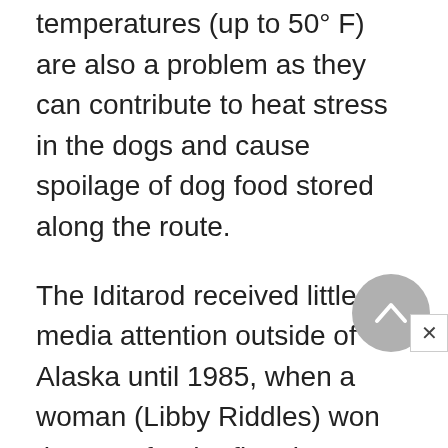temperatures (up to 50° F) are also a problem as they can contribute to heat stress in the dogs and cause spoilage of dog food stored along the route.
The Iditarod received little media attention outside of Alaska until 1985, when a woman (Libby Riddles) won the race for the first time. Another woman, Susan Butcher, won the Iditarod four times between 1986 and 1990. The resulting publicity not only boosted the profile of the race but also